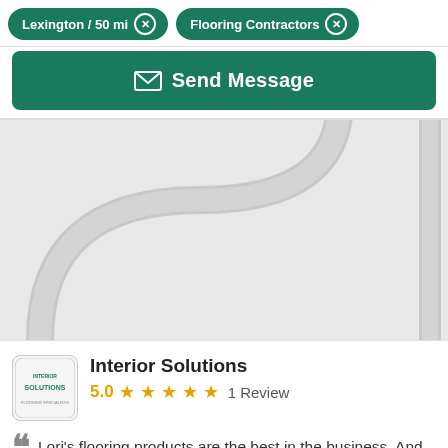Lexington / 50 mi ✕
Flooring Contractors ✕
[Figure (screenshot): Map view showing road arcs on a light grey background]
Interior Solutions
5.0 ★★★★★ 1 Review
Lori's flooring products are the best in the business. And service is impeccable. Highly recommend. Designs